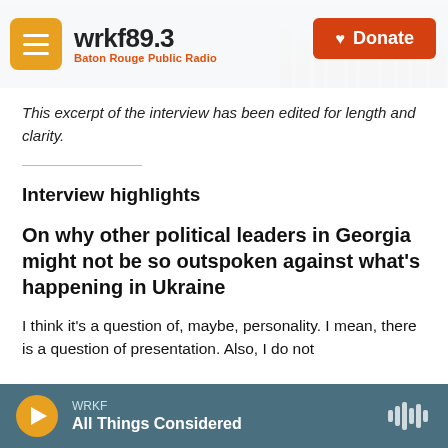wrkf89.3 Baton Rouge Public Radio | Donate
This excerpt of the interview has been edited for length and clarity.
Interview highlights
On why other political leaders in Georgia might not be so outspoken against what's happening in Ukraine
I think it's a question of, maybe, personality. I mean, there is a question of presentation. Also, I do not
WRKF | All Things Considered